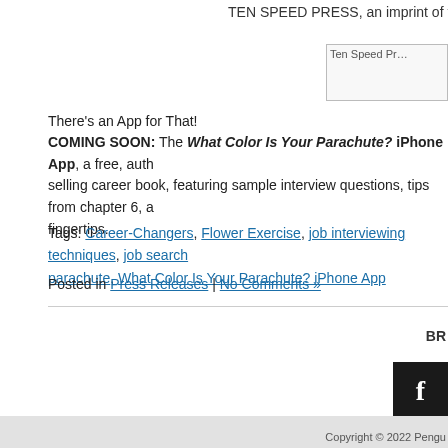TEN SPEED PRESS, an imprint of t…
[Figure (logo): Ten Speed Press logo image (partially visible)]
There's an App for That!
COMING SOON: The What Color Is Your Parachute? iPhone App, a free, auth… selling career book, featuring sample interview questions, tips from chapter 6, a… fingertips.
Tags: Career-Changers, Flower Exercise, job interviewing techniques, job search… parachute, What Color Is Your Parachute? iPhone App
Posted in Press Releases | No Comments »
BR…
[Figure (logo): Facebook icon button (dark background with white f)]
Copyright © 2022 Pengu…